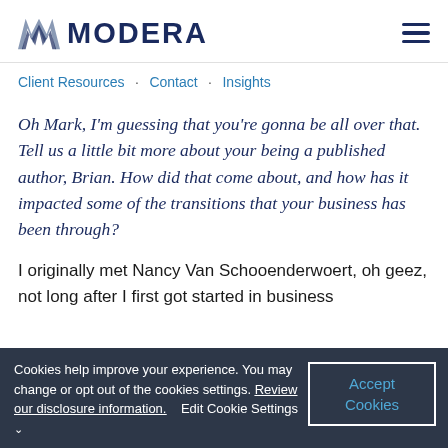MODERA
Client Resources · Contact · Insights
Oh Mark, I'm guessing that you're gonna be all over that. Tell us a little bit more about your being a published author, Brian. How did that come about, and how has it impacted some of the transitions that your business has been through?
I originally met Nancy Van Schooenderwoert, oh geez, not long after I first got started in business
Cookies help improve your experience. You may change or opt out of the cookies settings. Review our disclosure information.   Edit Cookie Settings ∨
Accept Cookies